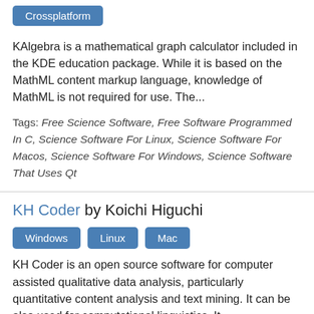Crossplatform
KAlgebra is a mathematical graph calculator included in the KDE education package. While it is based on the MathML content markup language, knowledge of MathML is not required for use. The...
Tags: Free Science Software, Free Software Programmed In C, Science Software For Linux, Science Software For Macos, Science Software For Windows, Science Software That Uses Qt
KH Coder by Koichi Higuchi
Windows
Linux
Mac
KH Coder is an open source software for computer assisted qualitative data analysis, particularly quantitative content analysis and text mining. It can be also used for computational linguistics. It...